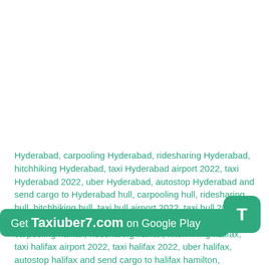Hyderabad, carpooling Hyderabad, ridesharing Hyderabad, hitchhiking Hyderabad, taxi Hyderabad airport 2022, taxi Hyderabad 2022, uber Hyderabad, autostop Hyderabad and send cargo to Hyderabad hull, carpooling hull, ridesharing hull, hitchhiking hull, taxi hull airport 2022, taxi hull 2022, uber hull, autostop hull and send cargo to hull halifax, carpooling halifax, ridesharing halifax, hitchhiking halifax, taxi halifax airport 2022, taxi halifax 2022, uber halifax, autostop halifax and send cargo to halifax hamilton, hitchhiking hamilton, taxi hamilton airport 2022, taxi
Get Taxiuber7.com on Google Play